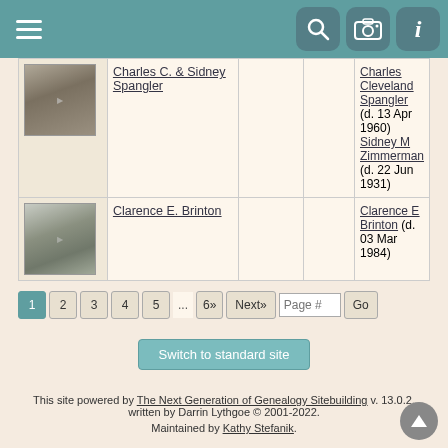Navigation bar with hamburger menu and icons for search, camera, and info
| Photo | Name |  |  | Persons |
| --- | --- | --- | --- | --- |
| [photo] | Charles C. & Sidney Spangler |  |  | Charles Cleveland Spangler (d. 13 Apr 1960)
Sidney M Zimmerman (d. 22 Jun 1931) |
| [photo] | Clarence E. Brinton |  |  | Clarence E Brinton (d. 03 Mar 1984) |
Pagination: 1 2 3 4 5 ... 6» Next» Page # Go
Switch to standard site
This site powered by The Next Generation of Genealogy Sitebuilding v. 13.0.2, written by Darrin Lythgoe © 2001-2022. Maintained by Kathy Stefanik.